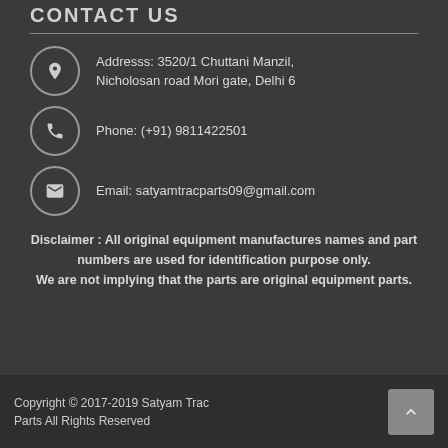CONTACT US
Addresss: 3520/1 Chuttani Manzil, Nicholosan road Mori gate, Delhi 6
Phone: (+91) 9811422501
Email: satyamtracparts09@gmail.com
Disclaimer : All original equipment manufactures names and part numbers are used for identification purpose only. We are not implying that the parts are original equipment parts.
Copyright © 2017-2019 Satyam Trac Parts All Rights Reserved